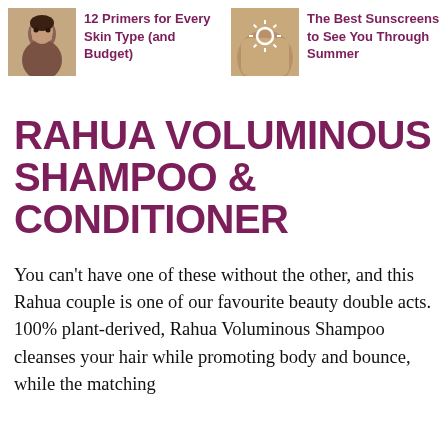[Figure (photo): Thumbnail photo of a woman touching her face]
12 Primers for Every Skin Type (and Budget)
[Figure (photo): Thumbnail photo of a person's back/shoulder with a sun symbol drawn in sunscreen]
The Best Sunscreens to See You Through Summer
RAHUA VOLUMINOUS SHAMPOO & CONDITIONER
You can't have one of these without the other, and this Rahua couple is one of our favourite beauty double acts. 100% plant-derived, Rahua Voluminous Shampoo cleanses your hair while promoting body and bounce, while the matching